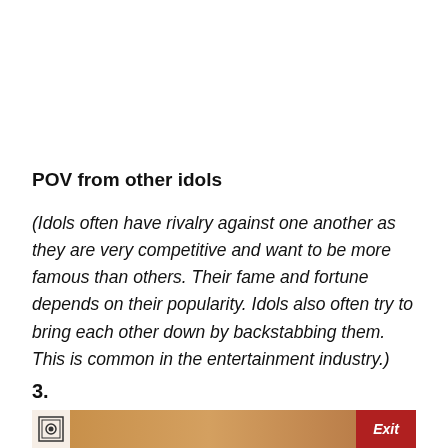POV from other idols
(Idols often have rivalry against one another as they are very competitive and want to be more famous than others. Their fame and fortune depends on their popularity. Idols also often try to bring each other down by backstabbing them. This is common in the entertainment industry.)
3.
[Figure (screenshot): A screenshot of a video or presentation slide with a camera icon on the left and an 'Exit' button on the right against a reddish-brown background.]